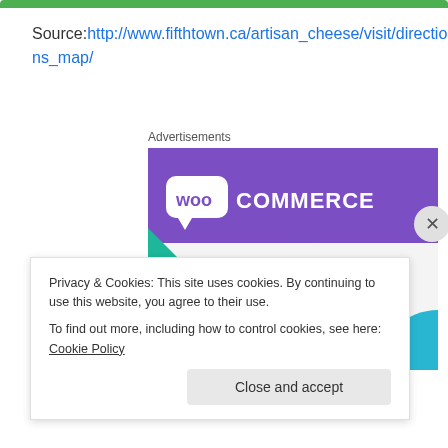[Figure (other): Green navigation/button bar at top of page]
Source:http://www.fifthtown.ca/artisan_cheese/visit/directions_map/
Advertisements
[Figure (screenshot): WooCommerce advertisement banner showing 'How to start selling subscriptions online' with purple header and teal/blue accent shapes]
Privacy & Cookies: This site uses cookies. By continuing to use this website, you agree to their use.
To find out more, including how to control cookies, see here: Cookie Policy
Close and accept